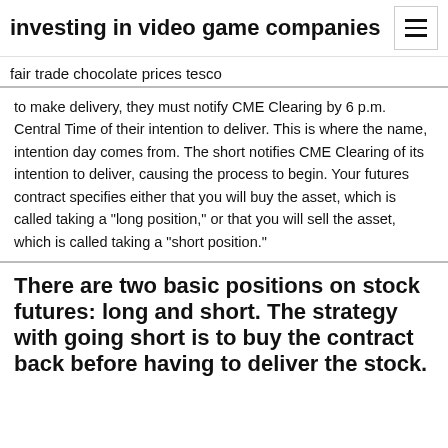investing in video game companies
fair trade chocolate prices tesco
to make delivery, they must notify CME Clearing by 6 p.m. Central Time of their intention to deliver. This is where the name, intention day comes from. The short notifies CME Clearing of its intention to deliver, causing the process to begin. Your futures contract specifies either that you will buy the asset, which is called taking a "long position," or that you will sell the asset, which is called taking a "short position."
There are two basic positions on stock futures: long and short. The strategy with going short is to buy the contract back before having to deliver the stock.